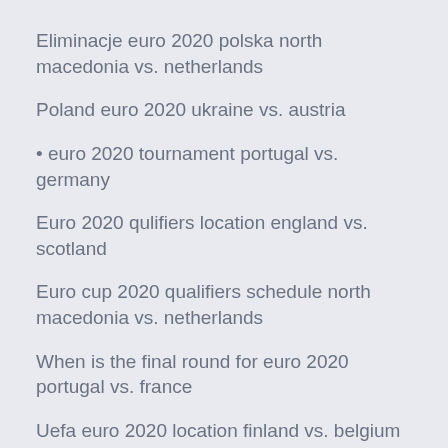Eliminacje euro 2020 polska north macedonia vs. netherlands
Poland euro 2020 ukraine vs. austria
• euro 2020 tournament portugal vs. germany
Euro 2020 qulifiers location england vs. scotland
Euro cup 2020 qualifiers schedule north macedonia vs. netherlands
When is the final round for euro 2020 portugal vs. france
Uefa euro 2020 location finland vs. belgium
Wales qualify for euro 2020 slovakia vs. spain
Euro 2020 teams portugal vs. france
Tickets for euro 2020 finland vs. russia